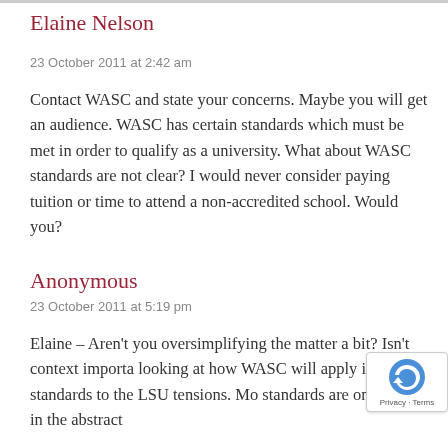Elaine Nelson
23 October 2011 at 2:42 am
Contact WASC and state your concerns. Maybe you will get an audience.  WASC has certain standards which must be met in order to qualify as a university. What about WASC standards are not clear?  I would never consider paying tuition or time to attend a non-accredited school.  Would you?
Anonymous
23 October 2011 at 5:19 pm
Elaine – Aren't you oversimplifying the matter a bit? Isn't context importa looking at how WASC will apply it standards to the LSU tensions. Mo standards are only clear in the abstract